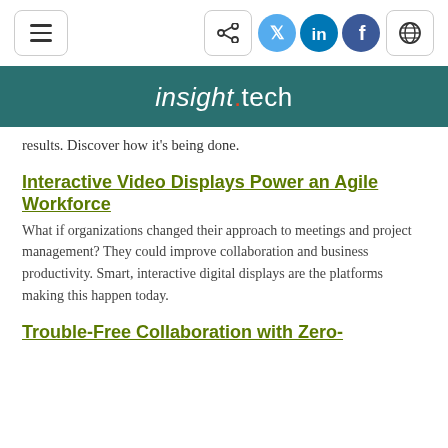insight.tech
results. Discover how it’s being done.
Interactive Video Displays Power an Agile Workforce
What if organizations changed their approach to meetings and project management? They could improve collaboration and business productivity. Smart, interactive digital displays are the platforms making this happen today.
Trouble-Free Collaboration with Zero-